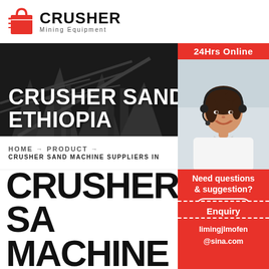[Figure (logo): Crusher Mining Equipment logo with red shopping bag icon and bold black CRUSHER text]
[Figure (photo): Dark industrial/mining equipment background hero image with white bold text: CRUSHER SAND MACHINE SUPPLIERS IN ETHIOPIA]
CRUSHER SAND MACHINE SUPPLIERS IN ETHIOPIA
HOME → PRODUCT → CRUSHER SAND MACHINE SUPPLIERS IN
CRUSHER SA MACHINE
[Figure (photo): Customer service representative woman wearing headset, smiling, for 24Hrs Online chat sidebar]
24Hrs Online
Need questions & suggestion?
Chat Now
Enquiry
limingjlmofen@sina.com